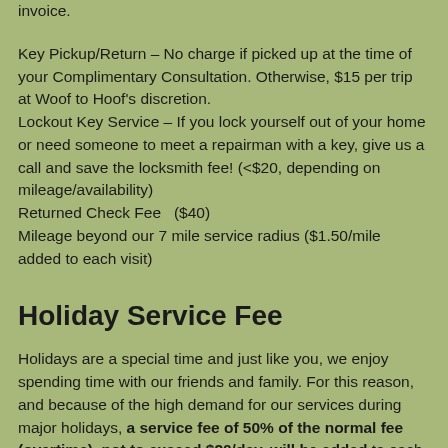invoice.
Key Pickup/Return – No charge if picked up at the time of your Complimentary Consultation. Otherwise, $15 per trip at Woof to Hoof's discretion.
Lockout Key Service – If you lock yourself out of your home or need someone to meet a repairman with a key, give us a call and save the locksmith fee! (<$20, depending on mileage/availability)
Returned Check Fee  ($40)
Mileage beyond our 7 mile service radius ($1.50/mile added to each visit)
Holiday Service Fee
Holidays are a special time and just like you, we enjoy spending time with our friends and family. For this reason, and because of the high demand for our services during major holidays, a service fee of 50% of the normal fee (overtime), not to exceed $20/day, will be added to each visit for the following holidays AND holiday weekends if a holiday falls on a Monday–Friday. New Year's D...